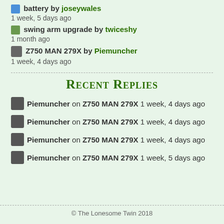battery by joseywales 1 week, 5 days ago
swing arm upgrade by twiceshy 1 month ago
Z750 MAN 279X by Piemuncher 1 week, 4 days ago
Recent Replies
Piemuncher on Z750 MAN 279X 1 week, 4 days ago
Piemuncher on Z750 MAN 279X 1 week, 4 days ago
Piemuncher on Z750 MAN 279X 1 week, 4 days ago
Piemuncher on Z750 MAN 279X 1 week, 5 days ago
© The Lonesome Twin 2018